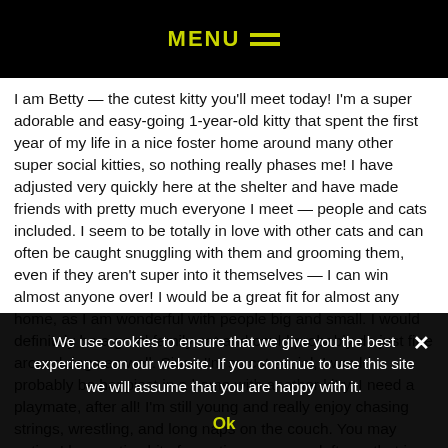MENU ☰
I am Betty — the cutest kitty you'll meet today! I'm a super adorable and easy-going 1-year-old kitty that spent the first year of my life in a nice foster home around many other super social kitties, so nothing really phases me! I have adjusted very quickly here at the shelter and have made friends with pretty much everyone I meet — people and cats included. I seem to be totally in love with other cats and can often be caught snuggling with them and grooming them, even if they aren't super into it themselves — I can win almost anyone over! I would be a great fit for almost any home, as I am wonderful with people big and small. I would definitely be a good family cat and could probably do just fine around dogs as well. Since I'm so cat social, I would probably be happiest in a home with another kitty. I need a playmate, after all! I'm still young and really enjoy chasing strings, wrestling, and long naps on the couch. You may notice I have a tiny bit of scar tissue one my left eye that is probably a result of having an eye infection as a
We use cookies to ensure that we give you the best experience on our website. If you continue to use this site we will assume that you are happy with it.
Ok